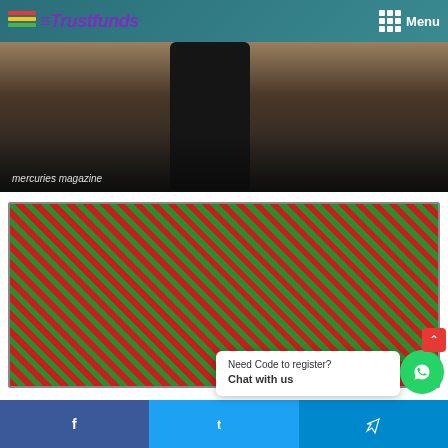Trustfunds — Menu
[Figure (photo): Dark photo showing what appears to be a black plastic bag or object on a wooden surface, with text overlay 'mercuries magazine']
[Figure (photo): Peoples Democratic Party (PDP) Provisional Clearance Certificate for H.E. Ayo Fayose, cleared to contest during the Presidential Primary Election at the 2022 Special National Convention. Serial No: 00016. Code CC/PD/P. Stamped CONFIDENTIAL as watermark.]
Need Code to register? Chat with us
Facebook | Twitter | Telegram social share buttons